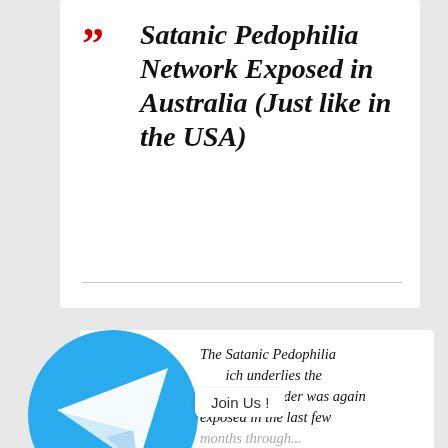Satanic Pedophilia Network Exposed in Australia (Just like in the USA)
[Figure (logo): Telegram messenger logo — white paper plane on blue circle background]
The Satanic Pedophilia Network which underlies the New World Order was again exposed in the last few months through...